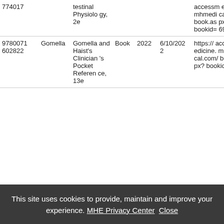| ISBN | Author | Title | Type | Year | Date | URL |
| --- | --- | --- | --- | --- | --- | --- |
| 774017 |  | testinal Physiology, 2e |  |  |  | accessmedicine.mhmedi cal.com/book.aspx?bookid=691 |
| 9780071602822 | Gomella | Gomella and Haist's Clinician's Pocket Reference, 13e | Book | 2022 | 6/10/2022 | https://accessmedicine.mhmedi cal.com/book.aspx?bookid=... |
This site uses cookies to provide, maintain and improve your experience. MHE Privacy Center Close